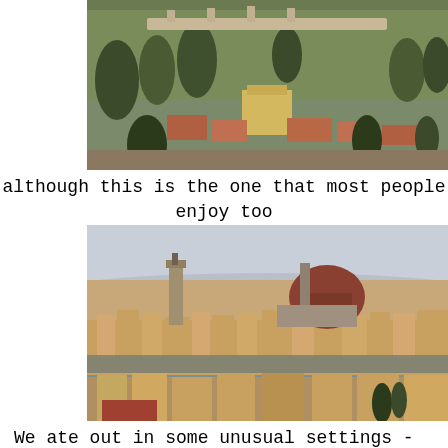[Figure (photo): Aerial/hillside view of Florence, Italy, showing terracotta rooftops, trees, and old city walls on a green hillside]
although this is the one that most people enjoy too
[Figure (photo): Panoramic view of Florence, Italy, showing the Arno river, Palazzo Vecchio tower, and the Cathedral of Santa Maria del Fiore (Duomo) with its large red dome]
We ate out in some unusual settings - the